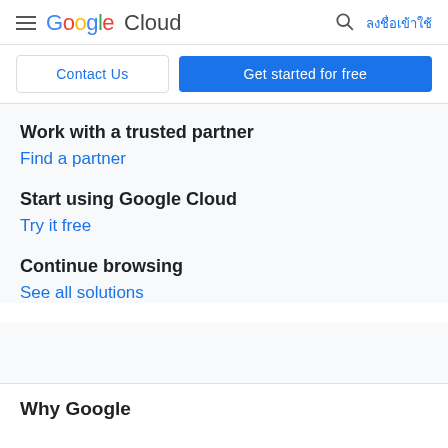Google Cloud — ลงชื่อเข้าใช้
Contact Us
Get started for free
Work with a trusted partner
Find a partner
Start using Google Cloud
Try it free
Continue browsing
See all solutions
Why Google